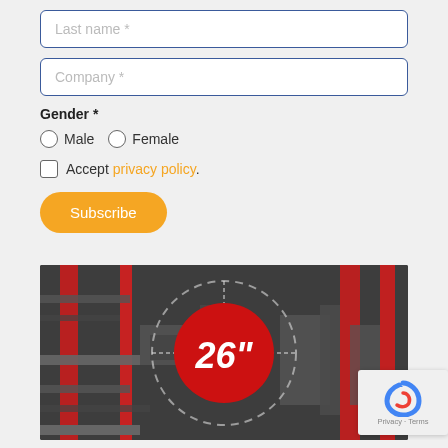Last name *
Company *
Gender *
Male   Female
Accept privacy policy.
Subscribe
[Figure (photo): Industrial machinery photo with red circle overlay showing '26"' measurement label and dashed circular target graphic]